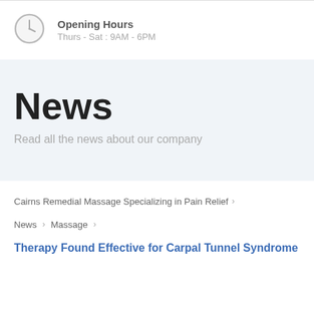[Figure (illustration): Clock icon — circular grey clock graphic]
Opening Hours
Thurs - Sat : 9AM - 6PM
News
Read all the news about our company
Cairns Remedial Massage Specializing in Pain Relief ›
News › Massage ›
Therapy Found Effective for Carpal Tunnel Syndrome